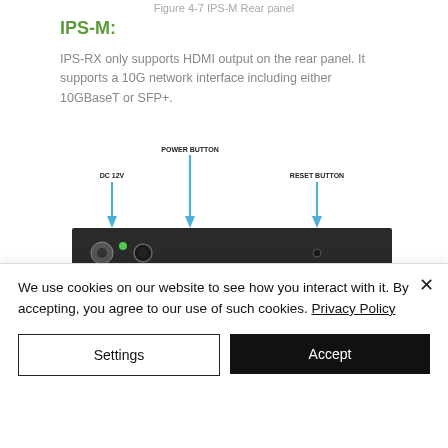Figure 4-7 IPS-M Rear panel
IPS-M:
IPS-RX only supports HDMI output on the rear panel. It supports a 10G network interface including either 10GBaseT or SFP+.
[Figure (engineering-diagram): IPS-M rear panel diagram showing DC 12V, Power Button, Reset Button, and Power LED labeled with blue arrows pointing to a dark rectangular hardware panel]
Figure 4-8 IPS-M rear panel
| Interface | Description |
| --- | --- |
We use cookies on our website to see how you interact with it. By accepting, you agree to our use of such cookies. Privacy Policy
Settings  Accept